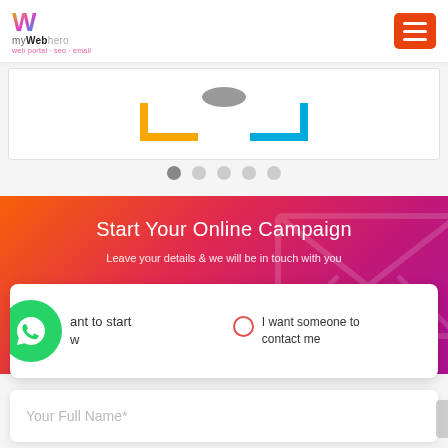[Figure (logo): myWebhero logo with colorful W and tagline]
[Figure (illustration): Orange hamburger menu icon (3 lines) on orange/red square button]
[Figure (illustration): Slider/carousel with colored bracket shapes (orange, yellow, blue) on white background]
[Figure (illustration): 5 carousel dots, first one dark/active, rest grey]
Start Your Online Campaign
Leave your details & we will be in touch with you
[Figure (illustration): Green WhatsApp circular button icon]
ant to start w
I want someone to contact me
Your Full Name*